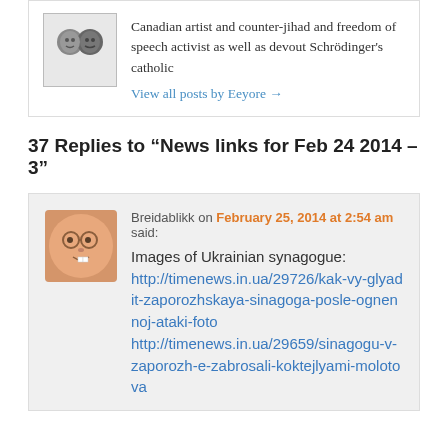[Figure (photo): Author avatar showing two illustrated figures]
Canadian artist and counter-jihad and freedom of speech activist as well as devout Schrödinger's catholic
View all posts by Eeyore →
37 Replies to “News links for Feb 24 2014 – 3”
[Figure (illustration): Comment avatar: cartoon face with glasses and buck teeth]
Breidablikk on February 25, 2014 at 2:54 am said:
Images of Ukrainian synagogue:
http://timenews.in.ua/29726/kak-vy-glyadit-zaporozhskaya-sinagoga-posle-ognennoj-ataki-foto
http://timenews.in.ua/29659/sinagogu-v-zaporozh-e-zabrosali-koktejlyami-molotova